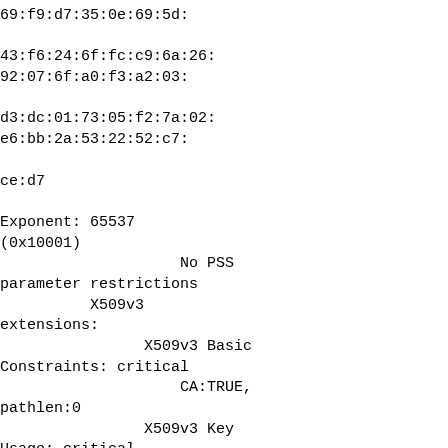69:f9:d7:35:0e:69:5d:

43:f6:24:6f:fc:c9:6a:26:
92:07:6f:a0:f3:a2:03:

d3:dc:01:73:05:f2:7a:02:
e6:bb:2a:53:22:52:c7:

ce:d7

Exponent: 65537
(0x10001)
                    No PSS
parameter restrictions
          X509v3
extensions:
                X509v3 Basic
Constraints: critical
                    CA:TRUE,
pathlen:0
                X509v3 Key
Usage: critical
                    Digital
Signature, Certificate
Sign, CRL Sign
    Signature Algorithm:
sha256WithRSAEncryption

1c:94:85:0f:61:1b:44:65:
57:10:5e:07:e8:d6:58:4c: